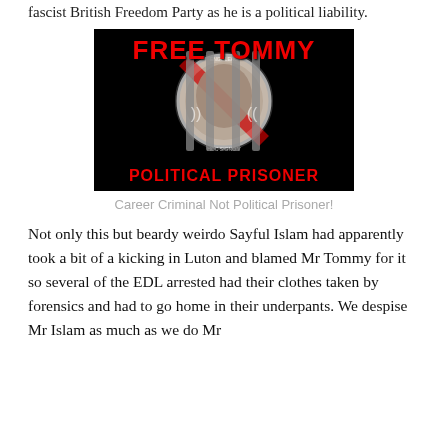fascist British Freedom Party as he is a political liability.
[Figure (illustration): Black background image with red text 'FREE TOMMY' at top, a circular badge with a man's face and English Defence League logo with prison bars overlaid, and red text 'POLITICAL PRISONER' at the bottom.]
Career Criminal Not Political Prisoner!
Not only this but beardy weirdo Sayful Islam had apparently took a bit of a kicking in Luton and blamed Mr Tommy for it so several of the EDL arrested had their clothes taken by forensics and had to go home in their underpants. We despise Mr Islam as much as we do Mr Tommy...